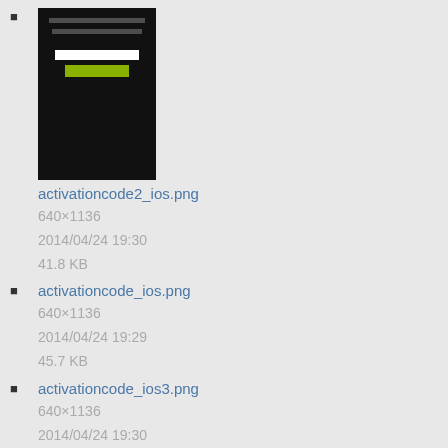[Figure (screenshot): Thumbnail screenshot of a mobile app screen showing activation code entry on black background with text field and green button]
activationcode2_ios.png
640×1136
2014/04/24 19:30
41.8 KB
activationcode_ios.png
640×1136
2014/04/24 19:29
45.7 KB
activationcode_ios3.png
640×1136
2014/04/24 19:30
32.7 KB
activationlinkandroid.png
140×231